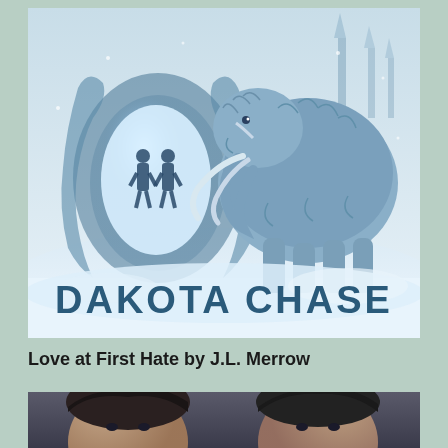[Figure (illustration): Book cover for 'Dakota Chase' showing a woolly mammoth on the right side and two human silhouettes standing in a glowing ice cave tunnel on the left, with snowy winter landscape. Bold text at the bottom reads 'DAKOTA CHASE' in dark teal letters.]
Love at First Hate by J.L. Merrow
[Figure (photo): Partial photo showing the faces of two young men with dark hair against a blurred background, cropped at the bottom of the page.]